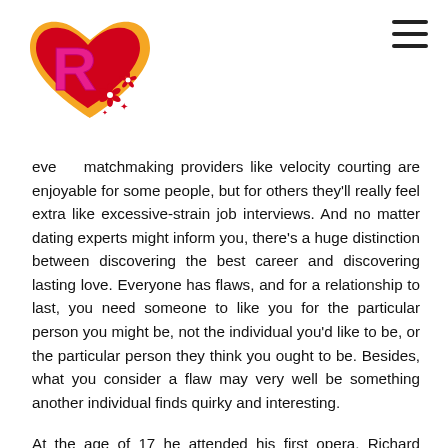[Figure (logo): Red and orange heart-shaped logo with a stylized pink 'R' letter inside, red floral decorations, on an orange heart background]
even matchmaking providers like velocity courting are enjoyable for some people, but for others they'll really feel extra like excessive-strain job interviews. And no matter dating experts might inform you, there's a huge distinction between discovering the best career and discovering lasting love. Everyone has flaws, and for a relationship to last, you need someone to like you for the particular person you might be, not the individual you'd like to be, or the particular person they think you ought to be. Besides, what you consider a flaw may very well be something another individual finds quirky and interesting.
At the age of 17 he attended his first opera, Richard Wagner's Tannhauser at the Metropolitan Opera in New York City and from that first opera, he was hooked. In 1989, he joined the board of the Washington National Opera and remained a member for 30 years. In 2005, he also became a founding member of the opera's board...